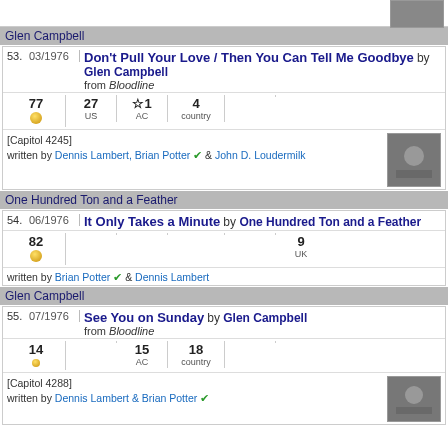Glen Campbell
53. 03/1976 Don't Pull Your Love / Then You Can Tell Me Goodbye by Glen Campbell from Bloodline
| 77 | 27 US | ☆1 AC | 4 country |
| --- | --- | --- | --- |
[Capitol 4245] written by Dennis Lambert, Brian Potter & John D. Loudermilk
One Hundred Ton and a Feather
54. 06/1976 It Only Takes a Minute by One Hundred Ton and a Feather
| 82 |  |  |  |  | 9 UK |
| --- | --- | --- | --- | --- | --- |
written by Brian Potter & Dennis Lambert
Glen Campbell
55. 07/1976 See You on Sunday by Glen Campbell from Bloodline
| 14 |  | 15 AC | 18 country |
| --- | --- | --- | --- |
[Capitol 4288] written by Dennis Lambert & Brian Potter